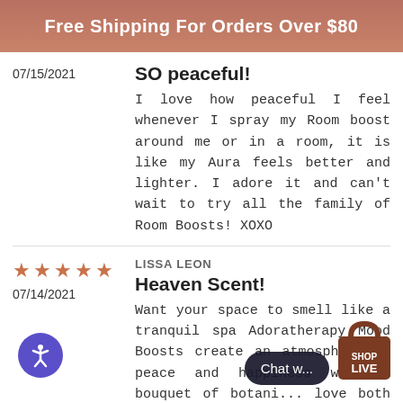Free Shipping For Orders Over $80
07/15/2021
SO peaceful!
I love how peaceful I feel whenever I spray my Room boost around me or in a room, it is like my Aura feels better and lighter. I adore it and can't wait to try all the family of Room Boosts! XOXO
LISSA LEON
07/14/2021
Heaven Scent!
Want your space to smell like a tranquil spa Adoratherapy Mood Boosts create an atmosphere of peace and happiness with a bouquet of botanical... love both the Sere... Room Boosts.